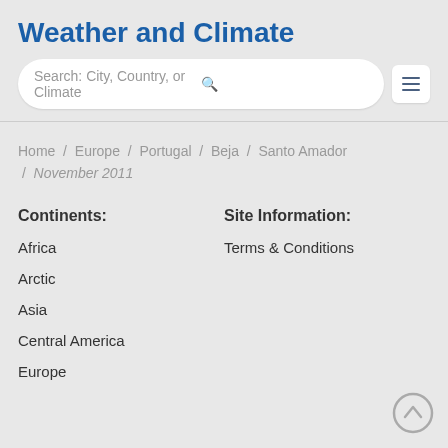Weather and Climate
Search: City, Country, or Climate
Home / Europe / Portugal / Beja / Santo Amador / November 2011
Continents:
Site Information:
Africa
Terms & Conditions
Arctic
Asia
Central America
Europe